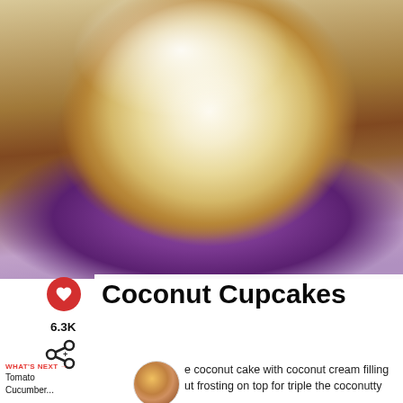[Figure (photo): Close-up photo of a coconut cupcake in a purple polka-dot wrapper, with fluffy white coconut topping, baked golden brown sides visible]
Coconut Cupcakes
6.3K
e coconut cake with coconut cream filling ut frosting on top for triple the coconutty deliciousness.
WHAT'S NEXT → Tomato Cucumber...
You can help hungry kids.  NO KID HUNGRY  LEARN HOW